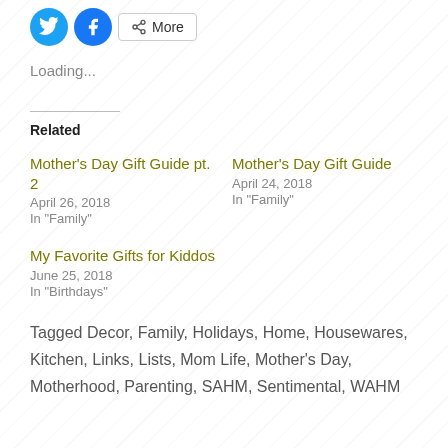[Figure (other): Social share buttons: Twitter (blue circle), Facebook (blue circle), and More button with share icon]
Loading...
Related
Mother’s Day Gift Guide pt. 2
April 26, 2018
In “Family”
Mother’s Day Gift Guide
April 24, 2018
In “Family”
My Favorite Gifts for Kiddos
June 25, 2018
In “Birthdays”
Tagged Decor, Family, Holidays, Home, Housewares, Kitchen, Links, Lists, Mom Life, Mother’s Day, Motherhood, Parenting, SAHM, Sentimental, WAHM